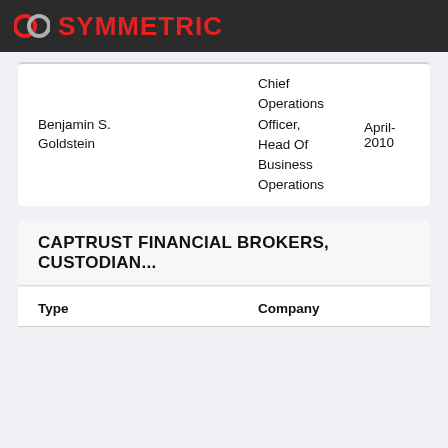SYMMETRIC
|  |  |  |
| --- | --- | --- |
| Benjamin S. Goldstein | Chief Operations Officer, Head Of Business Operations | April-2010 |
CAPTRUST FINANCIAL BROKERS, CUSTODIAN...
| Type | Company |
| --- | --- |